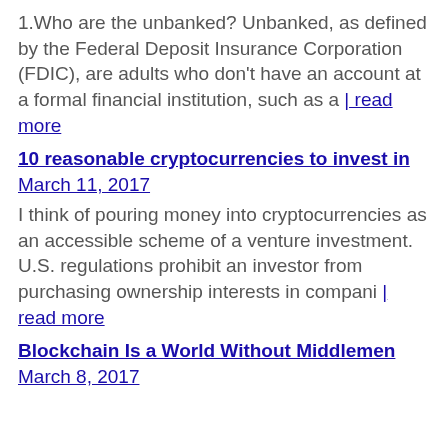1.Who are the unbanked? Unbanked, as defined by the Federal Deposit Insurance Corporation (FDIC), are adults who don't have an account at a formal financial institution, such as a | read more
10 reasonable cryptocurrencies to invest in
March 11, 2017
I think of pouring money into cryptocurrencies as an accessible scheme of a venture investment. U.S. regulations prohibit an investor from purchasing ownership interests in compani | read more
Blockchain Is a World Without Middlemen
March 8, 2017